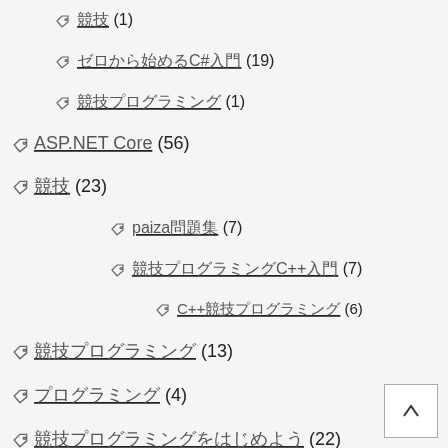競技 (1)
ゼロから始めるC#入門 (19)
競技プログラミング (1)
ASP.NET Core (56)
競技 (23)
paiza問題集 (7)
競技プログラミングC++入門 (7)
C++競技プログラミング (6)
競技プログラミング (13)
プログラミング (4)
競技プログラミングをはじめよう (22)
競技プログラミング入門 (15)
競技 (18)